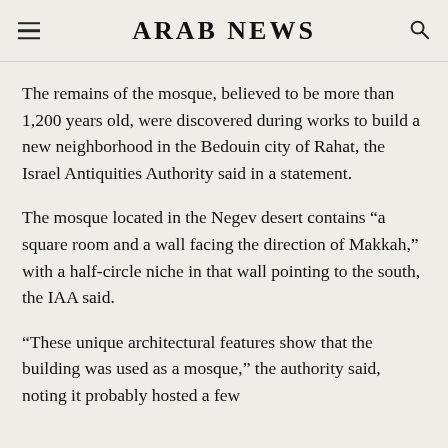ARAB NEWS
The remains of the mosque, believed to be more than 1,200 years old, were discovered during works to build a new neighborhood in the Bedouin city of Rahat, the Israel Antiquities Authority said in a statement.
The mosque located in the Negev desert contains “a square room and a wall facing the direction of Makkah,” with a half-circle niche in that wall pointing to the south, the IAA said.
“These unique architectural features show that the building was used as a mosque,” the authority said, noting it probably hosted a few